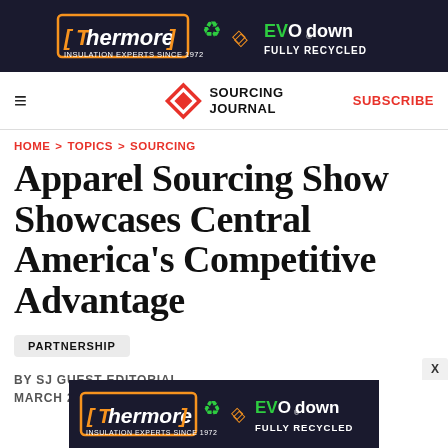[Figure (logo): Thermore EVO down fully recycled advertisement banner — dark navy background with orange Thermore logo and green EVO down branding]
≡  SOURCING JOURNAL  SUBSCRIBE
HOME > TOPICS > SOURCING
Apparel Sourcing Show Showcases Central America's Competitive Advantage
PARTNERSHIP
BY SJ GUEST EDITORIAL
MARCH 22, 2019  4:57 AM
[Figure (logo): Thermore EVO down fully recycled advertisement banner — dark navy background with orange Thermore logo and green EVO down branding]